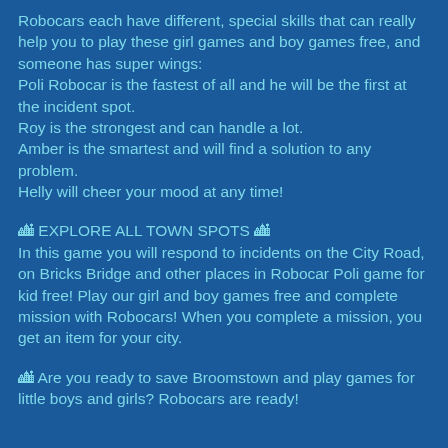Robocars each have different, special skills that can really help you to play these girl games and boy games free, and someone has super wings:
Poli Robocar is the fastest of all and he will be the first at the incident spot.
Roy is the strongest and can handle a lot.
Amber is the smartest and will find a solution to any problem.
Helly will cheer your mood at any time!
🏙 EXPLORE ALL TOWN SPOTS 🏙
In this game you will respond to incidents on the City Road, on Bricks Bridge and other places in Robocar Poli game for kid free! Play our girl and boy games free and complete mission with Robocars! When you complete a mission, you get an item for your city.
🏙 Are you ready to save Broomstown and play games for little boys and girls? Robocars are ready!